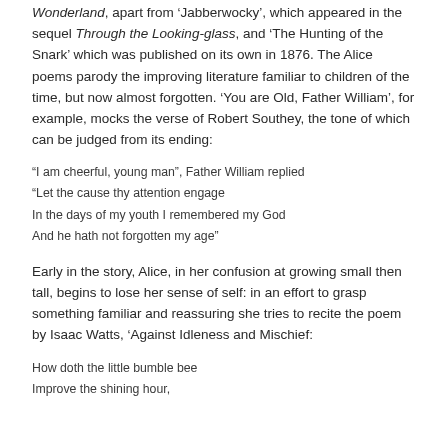Wonderland, apart from 'Jabberwocky', which appeared in the sequel Through the Looking-glass, and 'The Hunting of the Snark' which was published on its own in 1876. The Alice poems parody the improving literature familiar to children of the time, but now almost forgotten. 'You are Old, Father William', for example, mocks the verse of Robert Southey, the tone of which can be judged from its ending:
“I am cheerful, young man”, Father William replied
“Let the cause thy attention engage
In the days of my youth I remembered my God
And he hath not forgotten my age”
Early in the story, Alice, in her confusion at growing small then tall, begins to lose her sense of self: in an effort to grasp something familiar and reassuring she tries to recite the poem by Isaac Watts, ‘Against Idleness and Mischief:
How doth the little bumble bee
Improve the shining hour,